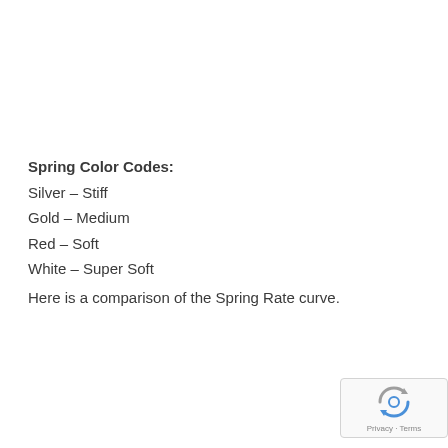Spring Color Codes:
Silver – Stiff
Gold – Medium
Red – Soft
White – Super Soft
Here is a comparison of the Spring Rate curve.
[Figure (logo): Google reCAPTCHA badge with Privacy and Terms links]